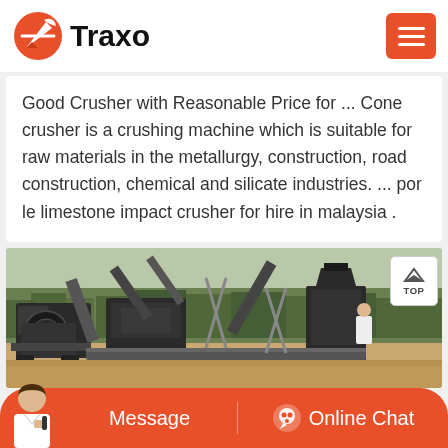Traxo
Good Crusher with Reasonable Price for ... Cone crusher is a crushing machine which is suitable for raw materials in the metallurgy, construction, road construction, chemical and silicate industries. ... por le limestone impact crusher for hire in malaysia .
[Figure (photo): Industrial mobile crushing and screening machinery at an outdoor construction or mining site, with conveyor belts, metal structures, and trees in background.]